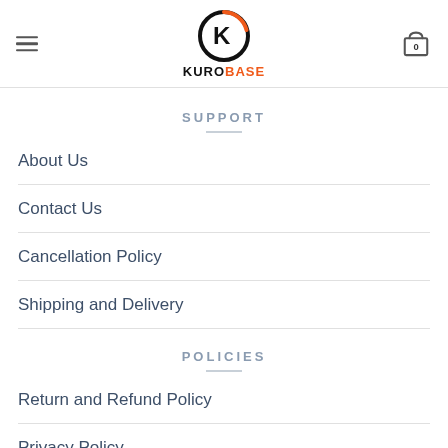[Figure (logo): Kurobase logo: circular K emblem in black and orange with text KURO BASE below]
SUPPORT
About Us
Contact Us
Cancellation Policy
Shipping and Delivery
POLICIES
Return and Refund Policy
Privacy Policy
Terms and Conditions